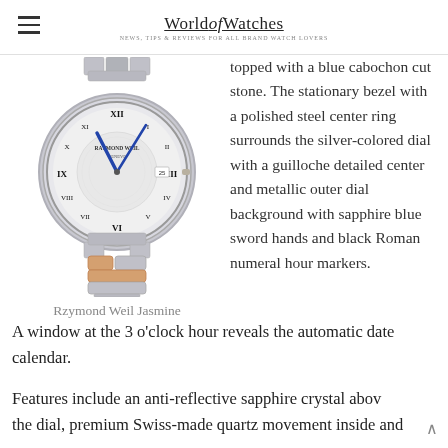World of Watches — NEWS, TIPS & REVIEWS FOR BRAND WATCH LOVERS
[Figure (photo): Raymond Weil Jasmine ladies watch with silver dial, Roman numerals, blue sword hands, two-tone stainless steel and rose gold bracelet]
Rzymond Weil Jasmine
topped with a blue cabochon cut stone. The stationary bezel with a polished steel center ring surrounds the silver-colored dial with a guilloche detailed center and metallic outer dial background with sapphire blue sword hands and black Roman numeral hour markers. A window at the 3 o'clock hour reveals the automatic date calendar.
Features include an anti-reflective sapphire crystal above the dial, premium Swiss-made quartz movement inside and